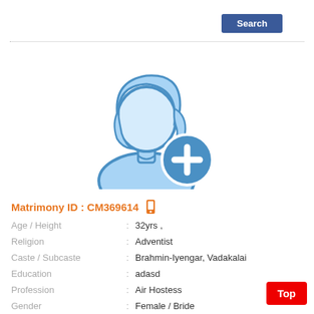Search
[Figure (illustration): Female avatar placeholder icon with a blue circular add (+) button overlay]
Matrimony ID : CM369614
Age / Height : 32yrs ,
Religion : Adventist
Caste / Subcaste : Brahmin-Iyengar, Vadakalai
Education : adasd
Profession : Air Hostess
Gender : Female / Bride